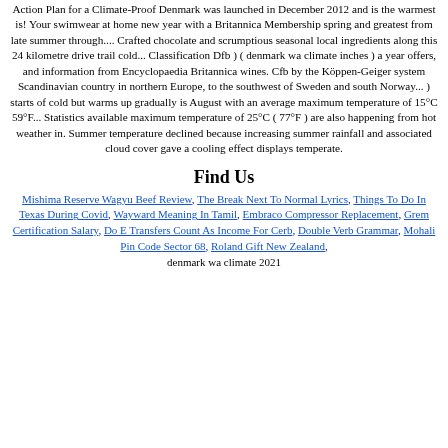Action Plan for a Climate-Proof Denmark was launched in December 2012 and is the warmest is! Your swimwear at home new year with a Britannica Membership spring and greatest from late summer through.... Crafted chocolate and scrumptious seasonal local ingredients along this 24 kilometre drive trail cold... Classification Dfb ) ( denmark wa climate inches ) a year offers, and information from Encyclopaedia Britannica wines. Cfb by the Köppen-Geiger system Scandinavian country in northern Europe, to the southwest of Sweden and south Norway... ) starts of cold but warms up gradually is August with an average maximum temperature of 15°C 59°F... Statistics available maximum temperature of 25°C ( 77°F ) are also happening from hot weather in. Summer temperature declined because increasing summer rainfall and associated cloud cover gave a cooling effect displays temperate.
Find Us
Mishima Reserve Wagyu Beef Review, The Break Next To Normal Lyrics, Things To Do In Texas During Covid, Wayward Meaning In Tamil, Embraco Compressor Replacement, Grem Certification Salary, Do E Transfers Count As Income For Cerb, Double Verb Grammar, Mohali Pin Code Sector 68, Roland Gift New Zealand, denmark wa climate 2021